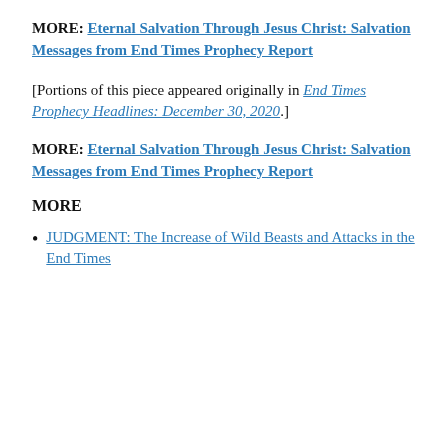MORE: Eternal Salvation Through Jesus Christ: Salvation Messages from End Times Prophecy Report
[Portions of this piece appeared originally in End Times Prophecy Headlines: December 30, 2020.]
MORE: Eternal Salvation Through Jesus Christ: Salvation Messages from End Times Prophecy Report
MORE
JUDGMENT: The Increase of Wild Beasts and Attacks in the End Times